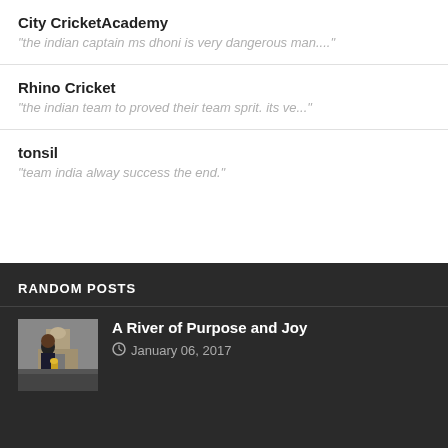City CricketAcademy
"the indian captain ms dhoni is very dangerous man...."
Rhino Cricket
"the indian team to proved their team sprit. its ve..."
tonsil
"team india alway success the end."
RANDOM POSTS
[Figure (photo): Photo of a man in a suit holding a trophy in front of a monument]
A River of Purpose and Joy
January 06, 2017